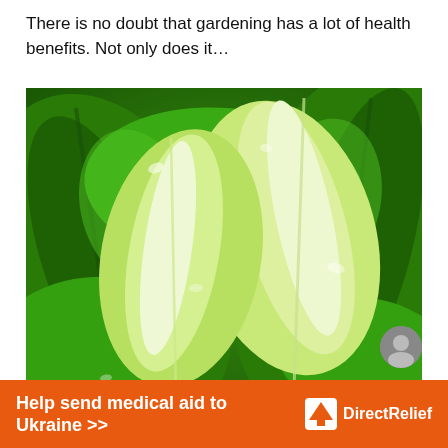There is no doubt that gardening has a lot of health benefits. Not only does it…
[Figure (photo): Close-up photo of fresh romaine lettuce leaves, showing bright green outer leaves and pale inner leaves with prominent white ribs.]
Romaine Lettuce – Growing Green Goodness
[Figure (infographic): Orange advertising banner: 'Help send medical aid to Ukraine >>' with DirectRelief logo on the right.]